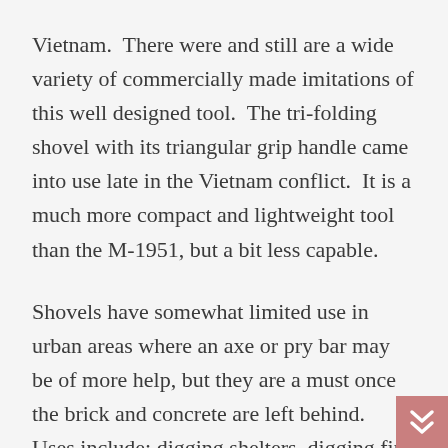Vietnam.  There were and still are a wide variety of commercially made imitations of this well designed tool.  The tri-folding shovel with its triangular grip handle came into use late in the Vietnam conflict.  It is a much more compact and lightweight tool than the M-1951, but a bit less capable.
Shovels have somewhat limited use in urban areas where an axe or pry bar may be of more help, but they are a must once the brick and concrete are left behind.  Uses include: digging shelters, digging fire pits, burying waste, drainage trenching, building defensive positions, and making animal traps. There may be the need to